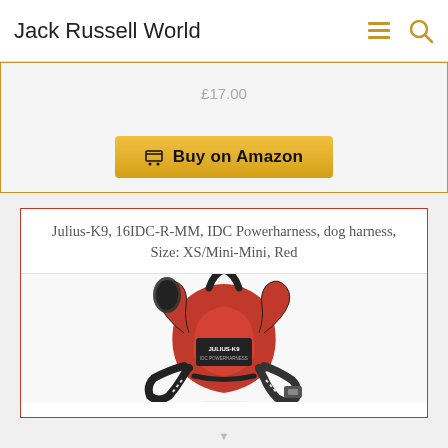Jack Russell World
£17.00
Buy on Amazon
Julius-K9, 16IDC-R-MM, IDC Powerharness, dog harness, Size: XS/Mini-Mini, Red
[Figure (photo): Red Julius-K9 IDC Powerharness dog harness, XS/Mini-Mini size, shown from the front/side angle. The harness is primarily red with black straps and buckles, featuring the JULIUS-K9 logo patch on the front.]